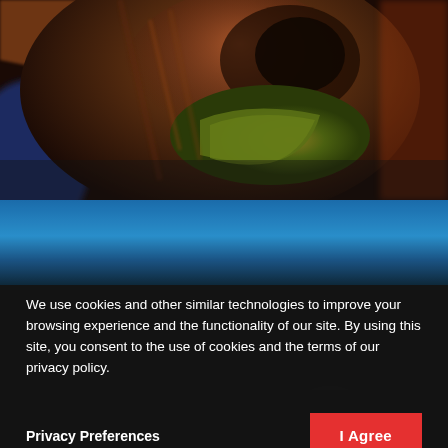[Figure (photo): Close-up photo of a creature (appears to be a monster or animal) with dark brown/orange textured skin and greenish mouth/teeth area, colorful blurred background]
[Figure (photo): Blue gradient sky photograph, bottom portion with darker horizon]
We use cookies and other similar technologies to improve your browsing experience and the functionality of our site. By using this site, you consent to the use of cookies and the terms of our privacy policy.
Privacy Preferences
I Agree